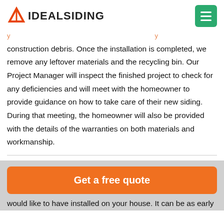IDEAL SIDING
construction debris. Once the installation is completed, we remove any leftover materials and the recycling bin. Our Project Manager will inspect the finished project to check for any deficiencies and will meet with the homeowner to provide guidance on how to take care of their new siding. During that meeting, the homeowner will also be provided with the details of the warranties on both materials and workmanship.
Get a free quote
would like to have installed on your house. It can be as early